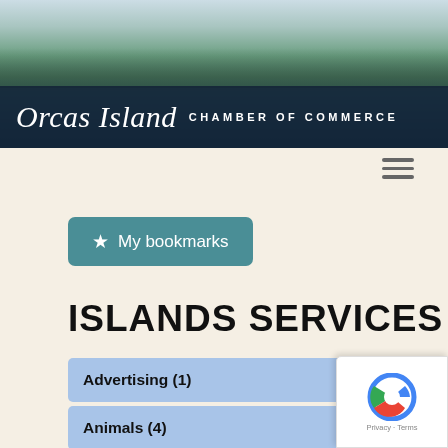[Figure (photo): Orcas Island Chamber of Commerce website header with scenic mountain and water landscape photo overlaid with dark navy banner containing the cursive Orcas Island logo and 'CHAMBER OF COMMERCE' text]
[Figure (other): Hamburger menu icon (three horizontal lines) in the upper right area below the header]
★ My bookmarks
ISLANDS SERVICES
Advertising (1)
Animals (4)
Auto (6)
Business Services (5)
Churches & Spiritual (4)